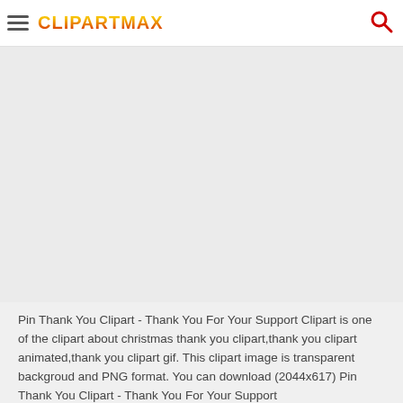ClipartMax
[Figure (photo): Transparent/empty image placeholder area with light gray background]
Pin Thank You Clipart - Thank You For Your Support Clipart is one of the clipart about christmas thank you clipart,thank you clipart animated,thank you clipart gif. This clipart image is transparent backgroud and PNG format. You can download (2044x617) Pin Thank You Clipart - Thank You For Your Support